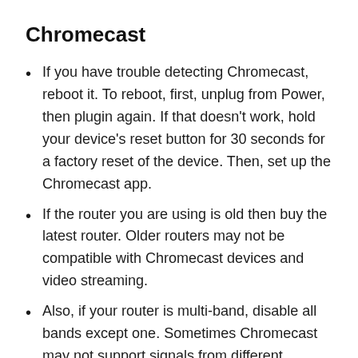Chromecast
If you have trouble detecting Chromecast, reboot it. To reboot, first, unplug from Power, then plugin again. If that doesn't work, hold your device's reset button for 30 seconds for a factory reset of the device. Then, set up the Chromecast app.
If the router you are using is old then buy the latest router. Older routers may not be compatible with Chromecast devices and video streaming.
Also, if your router is multi-band, disable all bands except one. Sometimes Chromecast may not support signals from different networks. And